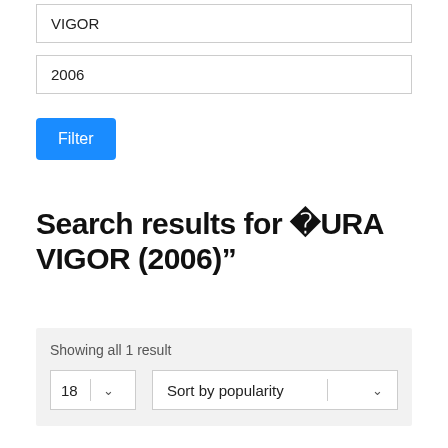VIGOR
2006
Filter
Search results for “ACURA VIGOR (2006)”
Showing all 1 result
18
Sort by popularity